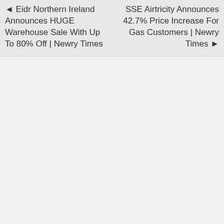◄ Eidr Northern Ireland Announces HUGE Warehouse Sale With Up To 80% Off | Newry Times
SSE Airtricity Announces 42.7% Price Increase For Gas Customers | Newry Times ►